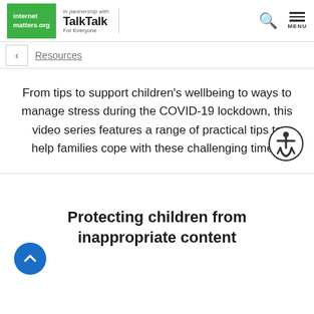internet matters.org | In partnership with TalkTalk For Everyone
Resources
From tips to support children's wellbeing to ways to manage stress during the COVID-19 lockdown, this video series features a range of practical tips to help families cope with these challenging times.
Protecting children from inappropriate content